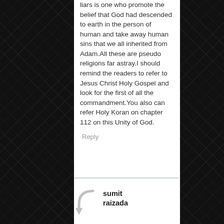liars is one who promote the belief that God had descended to earth in the person of human and take away human sins that we all inherited from Adam.All these are pseudo religions far astray.I should remind the readers to refer to Jesus Christ Holy Gospel and look for the first of all the commandment.You also can refer Holy Koran on chapter 112 on this Unity of God.
Reply
sumit raizada